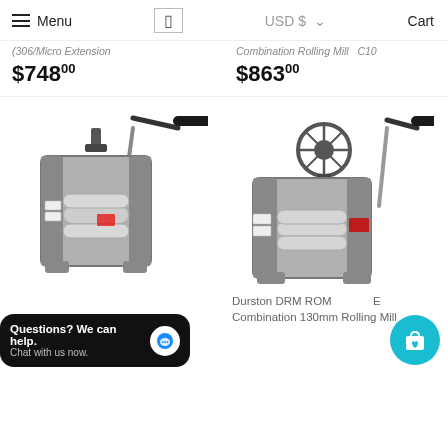Menu  USD $  Cart
(partial product title - cut off) ...130/Micro Extension
Combination Rolling Mill  C10...
$748.00
$863.00
[Figure (photo): Photo of a jewelry/metalworking rolling mill machine with a crank handle, steel rollers, and black handle on top]
[Figure (photo): Photo of a larger combination rolling mill (Durston DRM ROM type) with wheel handwheel adjustment, crank handle, and steel rollers]
Durston DRM ROM E Combination 130mm Rolling Mill
$875.00
Questions? We can help. Chat with us now.